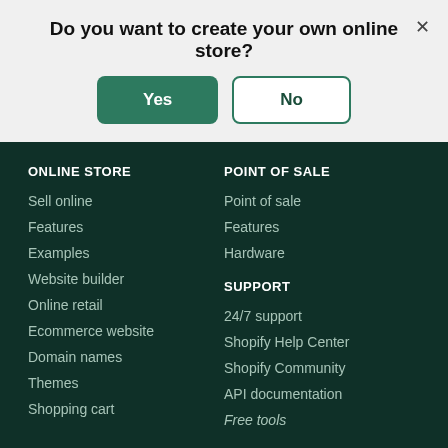Do you want to create your own online store?
[Figure (screenshot): Yes and No buttons for creating an online store prompt]
ONLINE STORE
Sell online
Features
Examples
Website builder
Online retail
Ecommerce website
Domain names
Themes
Shopping cart
POINT OF SALE
Point of sale
Features
Hardware
SUPPORT
24/7 support
Shopify Help Center
Shopify Community
API documentation
Free tools